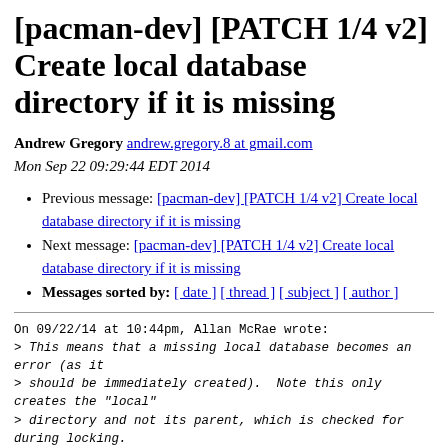[pacman-dev] [PATCH 1/4 v2] Create local database directory if it is missing
Andrew Gregory andrew.gregory.8 at gmail.com
Mon Sep 22 09:29:44 EDT 2014
Previous message: [pacman-dev] [PATCH 1/4 v2] Create local database directory if it is missing
Next message: [pacman-dev] [PATCH 1/4 v2] Create local database directory if it is missing
Messages sorted by: [ date ] [ thread ] [ subject ] [ author ]
On 09/22/14 at 10:44pm, Allan McRae wrote:
> This means that a missing local database becomes an error (as it
> should be immediately created).  Note this only creates the "local"
> directory and not its parent, which is checked for during locking.
>
> Signed-off-by: Allan McRae <allan at archlinux.org>